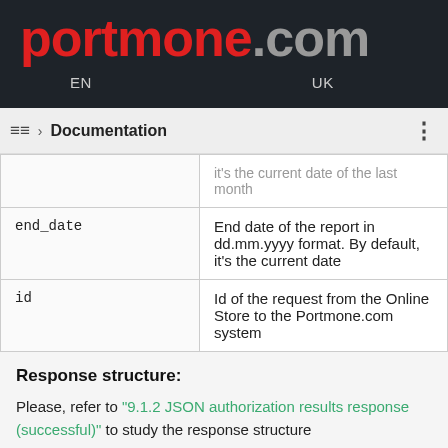portmone.com
EN   UK
Documentation
|  | it's the current date of the last month |
| end_date | End date of the report in dd.mm.yyyy format. By default, it's the current date |
| id | Id of the request from the Online Store to the Portmone.com system |
Response structure:
Please, refer to "9.1.2 JSON authorization results response (successful)" to study the response structure